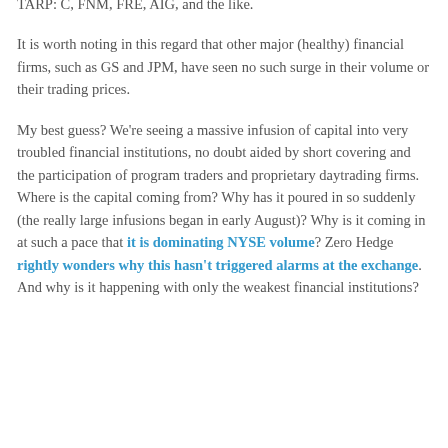of the involvement suggests that large financial institutions are systematically buying the beaten-up shares of the poster children for TARP: C, FNM, FRE, AIG, and the like.
It is worth noting in this regard that other major (healthy) financial firms, such as GS and JPM, have seen no such surge in their volume or their trading prices.
My best guess? We're seeing a massive infusion of capital into very troubled financial institutions, no doubt aided by short covering and the participation of program traders and proprietary daytrading firms. Where is the capital coming from? Why has it poured in so suddenly (the really large infusions began in early August)? Why is it coming in at such a pace that it is dominating NYSE volume? Zero Hedge rightly wonders why this hasn't triggered alarms at the exchange. And why is it happening with only the weakest financial institutions?